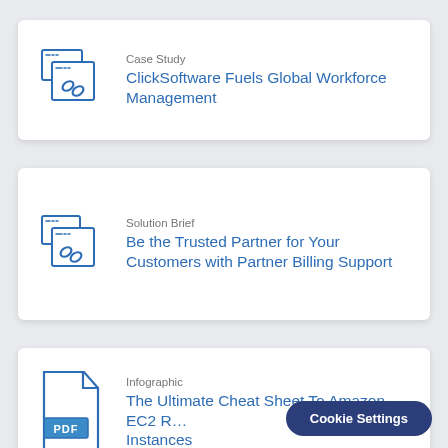[Figure (illustration): Document/browser icon with chain link, representing a Case Study]
Case Study
ClickSoftware Fuels Global Workforce Management
[Figure (illustration): Document/browser icon with chain link, representing a Solution Brief]
Solution Brief
Be the Trusted Partner for Your Customers with Partner Billing Support
[Figure (illustration): PDF file icon, representing an Infographic]
Infographic
The Ultimate Cheat Sheet To Amazon EC2 Reserved Instances
Cookie Settings